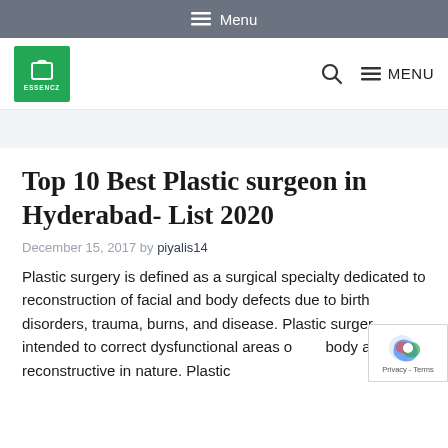≡ Menu
[Figure (logo): Essencz website logo - green square with shopping bag icon and ESSENCZ text]
Top 10 Best Plastic surgeon in Hyderabad- List 2020
December 15, 2017 by piyalis14
Plastic surgery is defined as a surgical specialty dedicated to reconstruction of facial and body defects due to birth disorders, trauma, burns, and disease. Plastic surgery is intended to correct dysfunctional areas of the body and is reconstructive in nature. Plastic